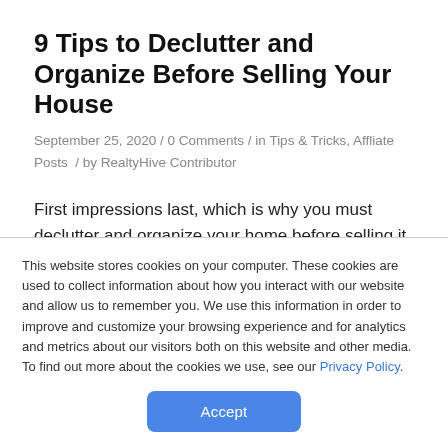9 Tips to Declutter and Organize Before Selling Your House
September 25, 2020 / 0 Comments / in Tips & Tricks, Affliate Posts / by RealtyHive Contributor
First impressions last, which is why you must declutter and organize your home before selling it.
By decluttering, you're removing any items that
This website stores cookies on your computer. These cookies are used to collect information about how you interact with our website and allow us to remember you. We use this information in order to improve and customize your browsing experience and for analytics and metrics about our visitors both on this website and other media. To find out more about the cookies we use, see our Privacy Policy.